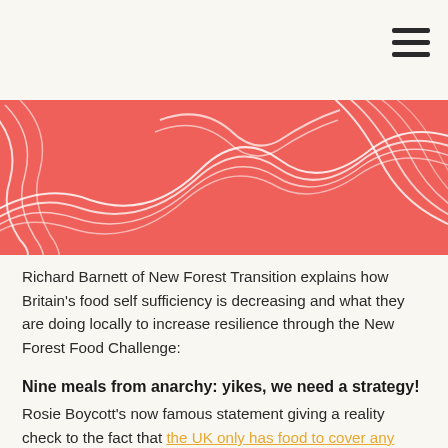[Figure (illustration): Coral/salmon-red banner with white abstract wavy topographic line patterns on a coral background]
Richard Barnett of New Forest Transition explains how Britain's food self sufficiency is decreasing and what they are doing locally to increase resilience through the New Forest Food Challenge:
Nine meals from anarchy: yikes, we need a strategy!
Rosie Boycott's now famous statement giving a reality check to the fact that the UK only has food to cover any three day period sums up, for